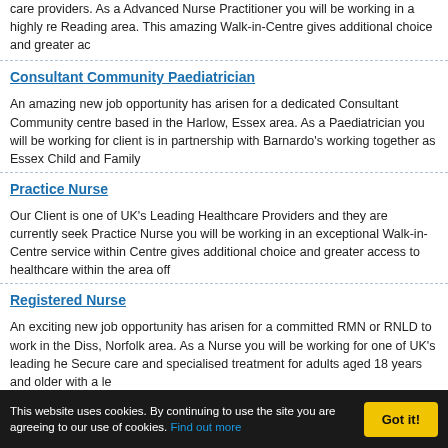care providers. As a Advanced Nurse Practitioner you will be working in a highly re Reading area. This amazing Walk-in-Centre gives additional choice and greater ac
Consultant Community Paediatrician
An amazing new job opportunity has arisen for a dedicated Consultant Community centre based in the Harlow, Essex area. As a Paediatrician you will be working for client is in partnership with Barnardo's working together as Essex Child and Family
Practice Nurse
Our Client is one of UK's Leading Healthcare Providers and they are currently seek Practice Nurse you will be working in an exceptional Walk-in-Centre service within Centre gives additional choice and greater access to healthcare within the area off
Registered Nurse
An exciting new job opportunity has arisen for a committed RMN or RNLD to work in the Diss, Norfolk area. As a Nurse you will be working for one of UK's leading he Secure care and specialised treatment for adults aged 18 years and older with a le
General Practitioner
Our Client is one of UK's Leading Healthcare Providers and they are currently see
This website uses cookies. By continuing to use the site you are agreeing to our use of cookies. Find out more